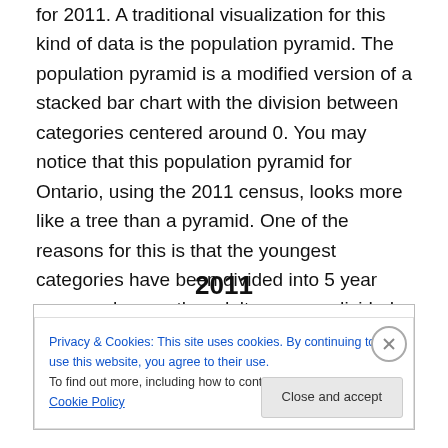for 2011.  A traditional visualization for this kind of data is the population pyramid.   The population pyramid is a modified version of a stacked bar chart with the division between categories centered around 0.   You may notice that this population pyramid for Ontario, using the 2011 census, looks more like a tree than a pyramid.  One of the reasons for this is that the youngest categories have been divided into 5 year ranges whereas the adult ages are divided into 10 year ranges.
2011
[Figure (other): Cookie consent banner overlay on top of a population pyramid chart. The banner contains text about privacy and cookies policy with a 'Close and accept' button. The bottom of the chart is partially visible showing a horizontal bar in red/orange and black colors.]